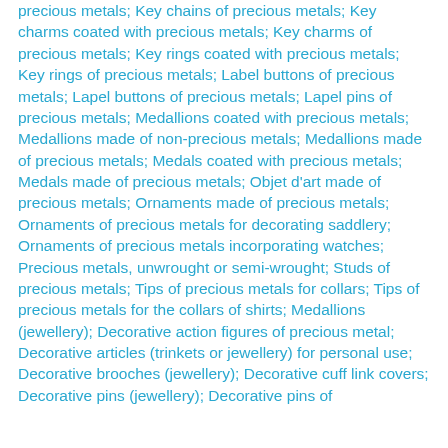precious metals; Key chains of precious metals; Key charms coated with precious metals; Key charms of precious metals; Key rings coated with precious metals; Key rings of precious metals; Label buttons of precious metals; Lapel buttons of precious metals; Lapel pins of precious metals; Medallions coated with precious metals; Medallions made of non-precious metals; Medallions made of precious metals; Medals coated with precious metals; Medals made of precious metals; Objet d'art made of precious metals; Ornaments made of precious metals; Ornaments of precious metals for decorating saddlery; Ornaments of precious metals incorporating watches; Precious metals, unwrought or semi-wrought; Studs of precious metals; Tips of precious metals for collars; Tips of precious metals for the collars of shirts; Medallions (jewellery); Decorative action figures of precious metal; Decorative articles (trinkets or jewellery) for personal use; Decorative brooches (jewellery); Decorative cuff link covers; Decorative pins (jewellery); Decorative pins of